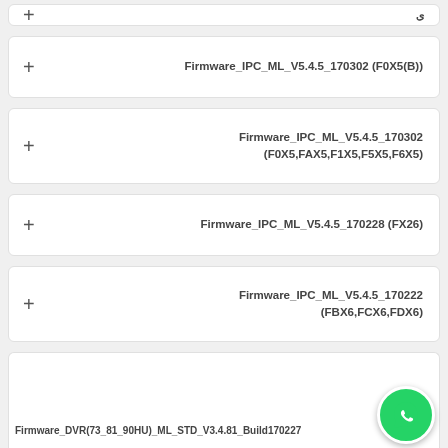Firmware_IPC_ML_V5.4.5_170302 (F0X5(B))
Firmware_IPC_ML_V5.4.5_170302 (F0X5,FAX5,F1X5,F5X5,F6X5)
Firmware_IPC_ML_V5.4.5_170228 (FX26)
Firmware_IPC_ML_V5.4.5_170222 (FBX6,FCX6,FDX6)
Firmware_DVR(73_81_90HU)_ML_STD_V3.4.81_Build170227